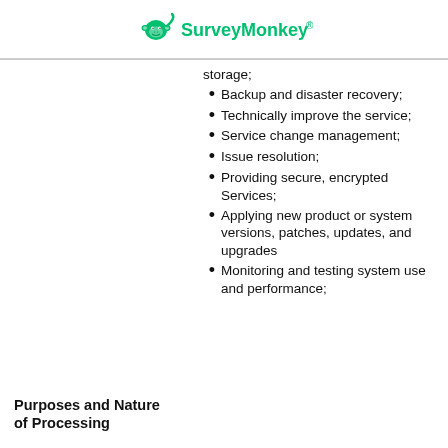SurveyMonkey
storage;
Backup and disaster recovery;
Technically improve the service;
Service change management;
Issue resolution;
Providing secure, encrypted Services;
Applying new product or system versions, patches, updates, and upgrades
Monitoring and testing system use and performance;
Purposes and Nature of Processing